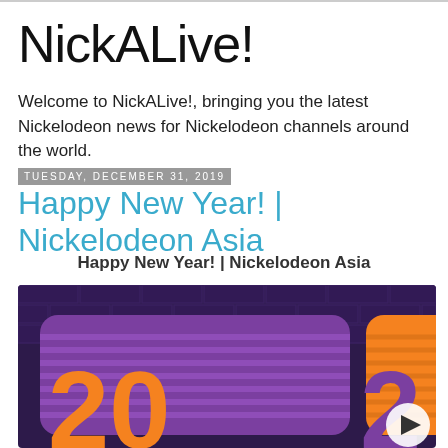NickALive!
Welcome to NickALive!, bringing you the latest Nickelodeon news for Nickelodeon channels around the world.
Tuesday, December 31, 2019
Happy New Year! | Nickelodeon Asia
Happy New Year! | Nickelodeon Asia
[Figure (photo): Nickelodeon Asia Happy New Year 2020 promotional image with purple and orange colored panels showing large orange numerals '20' on a dark purple brick wall background, with a video play button overlay.]